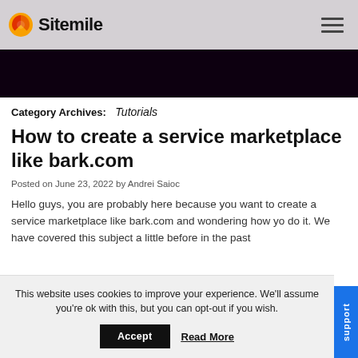Sitemile
Category Archives: Tutorials
How to create a service marketplace like bark.com
Posted on June 23, 2022 by Andrei Saioc
Hello guys, you are probably here because you want to create a service marketplace like bark.com and wondering how yo do it. We have covered this subject a little before in the past
This website uses cookies to improve your experience. We'll assume you're ok with this, but you can opt-out if you wish.
Accept  Read More
support